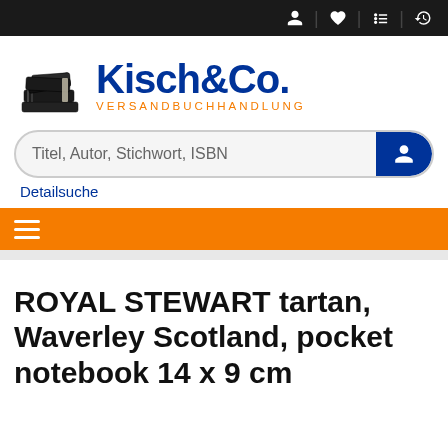Kisch&Co. Versandbuchhandlung — navigation bar with icons
[Figure (logo): Kisch&Co. Versandbuchhandlung logo with stacked books icon and blue/orange brand text]
Titel, Autor, Stichwort, ISBN
Detailsuche
≡ (hamburger menu on orange bar)
ROYAL STEWART tartan, Waverley Scotland, pocket notebook 14 x 9 cm